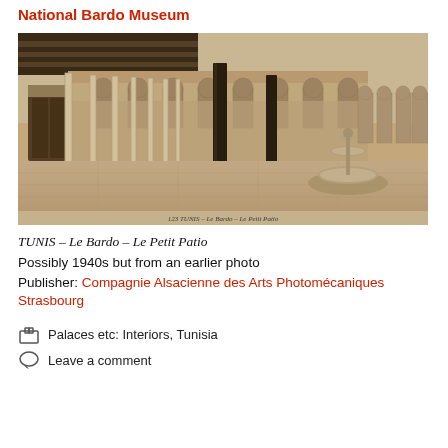National Bardo Museum
[Figure (photo): Sepia-toned vintage photograph of a courtyard at Le Bardo palace in Tunis, showing ornate colonnaded arcades with arches, decorative tilework on walls, a tiered fountain in the right foreground, and a wooden door on the left. Caption at bottom reads: 123 TUNIS – Le Bardo – Le Petit Patio]
TUNIS – Le Bardo – Le Petit Patio
Possibly 1940s but from an earlier photo
Publisher: Compagnie Alsacienne des Arts Photomécaniques Strasbourg
Palaces etc: Interiors, Tunisia
Leave a comment